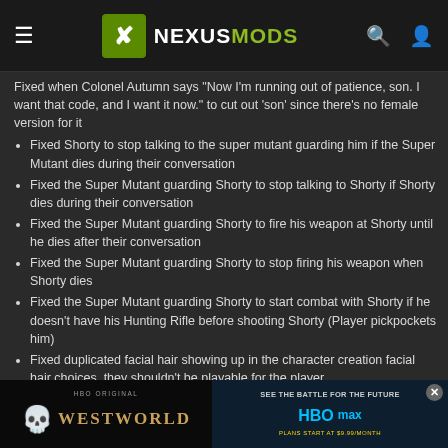NexusMods navigation bar
Fixed when Colonel Autumn says 'Now I'm running out of patience, son. I want that code, and I want it now.' to cut out 'son' since there's no female version for it
Fixed Shorty to stop talking to the super mutant guarding him if the Super Mutant dies during their conversation
Fixed the Super Mutant guarding Shorty to stop talking to Shorty if Shorty dies during their conversation
Fixed the Super Mutant guarding Shorty to fire his weapon at Shorty until he dies after their conversation
Fixed the Super Mutant guarding Shorty to stop firing his weapon when Shorty dies
Fixed the Super Mutant guarding Shorty to start combat with Shorty if he doesn't have his Hunting Rifle before shooting Shorty (Player pickpockets him)
Fixed duplicated facial hair showing up in the character creation facial hair choices, they shouldn't be playable for the player
Restored many dialogue lines Casdin says by having him being outside normally when before he only showed up when the player said the initial yes to the job
Fixed Casdin's forced greeting to not have him walk all the way up to the gate and instead go to the player within the radius
Fixed [partially obscured] organs dialogue [partially obscured]
Fixed [partially obscured] kfowl's